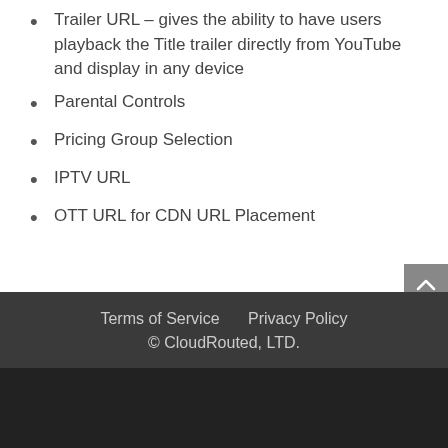Trailer URL – gives the ability to have users playback the Title trailer directly from YouTube and display in any device
Parental Controls
Pricing Group Selection
IPTV URL
OTT URL for CDN URL Placement
Terms of Service    Privacy Policy
© CloudRouted, LTD.